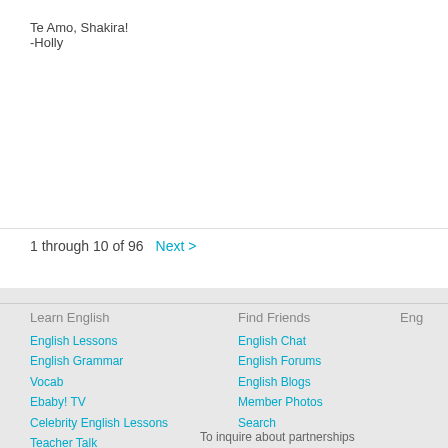Te Amo, Shakira!
-Holly
1 through 10 of 96  Next >
Learn English
English Lessons
English Grammar
Vocab
Ebaby! TV
Celebrity English Lessons
Teacher Talk
Find English Schools
iTEP English Test for Admissions
Find Friends
English Chat
English Forums
English Blogs
Member Photos
Search
Eng
To inquire about partnerships